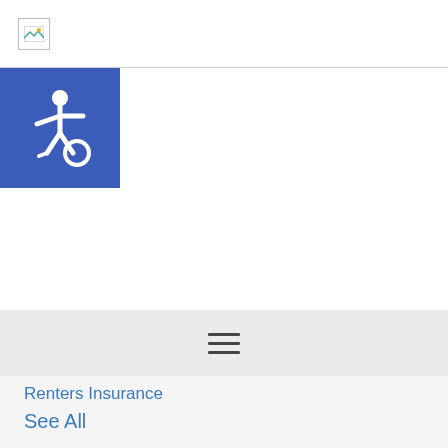[Figure (screenshot): Broken image placeholder in page header area]
[Figure (illustration): Blue accessibility icon button (wheelchair symbol on blue square background)]
[Figure (screenshot): Navigation bar with hamburger menu icon (three horizontal lines) on grey background]
Renters Insurance
See All
Business Insurance
Business Owners Insurance